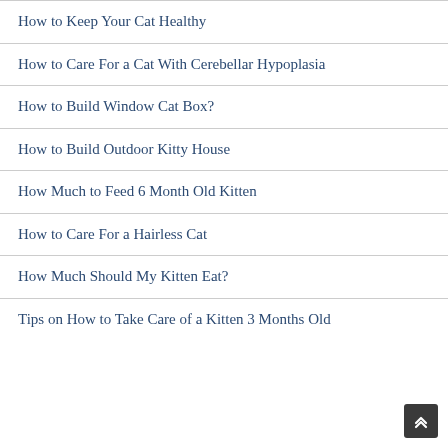How to Keep Your Cat Healthy
How to Care For a Cat With Cerebellar Hypoplasia
How to Build Window Cat Box?
How to Build Outdoor Kitty House
How Much to Feed 6 Month Old Kitten
How to Care For a Hairless Cat
How Much Should My Kitten Eat?
Tips on How to Take Care of a Kitten 3 Months Old